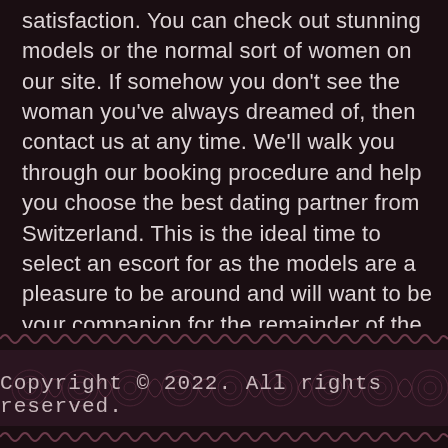satisfaction. You can check out stunning models or the normal sort of women on our site. If somehow you don't see the woman you've always dreamed of, then contact us at any time. We'll walk you through our booking procedure and help you choose the best dating partner from Switzerland. This is the ideal time to select an escort for as the models are a pleasure to be around and will want to be your companion for the remainder of the duration of your time in the city. If you've signed a contract, that they will accompany you around the town, just after the sunrise.
Copyright © 2022. All rights reserved.